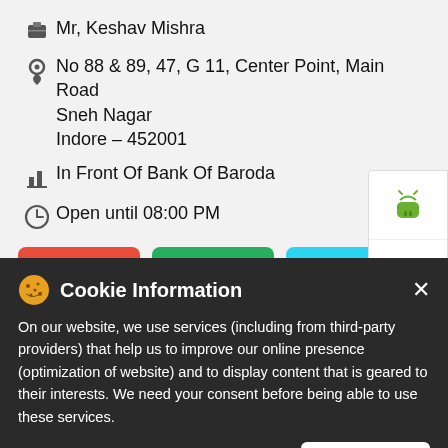Mr, Keshav Mishra
No 88 & 89, 47, G 11, Center Point, Main Road
Sneh Nagar
Indore - 452001
In Front Of Bank Of Baroda
Open until 08:00 PM
Call | Map | Website
[Figure (screenshot): Android and Apple app store icons on white panel]
Metropolis Healthcare Ltd
Cookie Information
On our website, we use services (including from third-party providers) that help us to improve our online presence (optimization of website) and to display content that is geared to their interests. We need your consent before being able to use these services.
I ACCEPT
No 102, 1st floor, Krishna tower
Malala Square
Indore - 452001
In Front of Curewell Hospital
Open until 08:00 PM